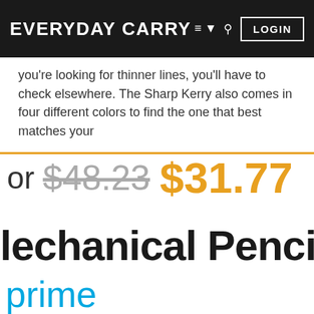EVERYDAY CARRY  ≡ ▾  🔍  LOGIN
you're looking for thinner lines, you'll have to check elsewhere. The Sharp Kerry also comes in four different colors to find the one that best matches your
or $48.23 $31.77
lechanical Pencil
prime